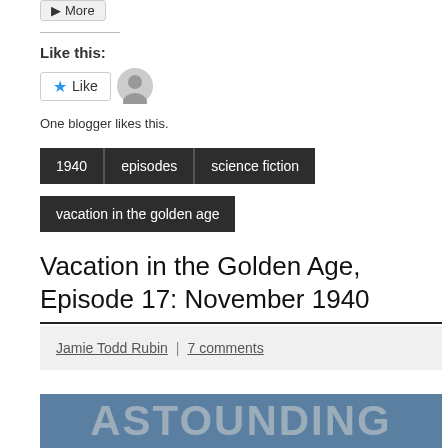More
Like this:
Like
One blogger likes this.
1940
episodes
science fiction
vacation in the golden age
Vacation in the Golden Age, Episode 17: November 1940
Jamie Todd Rubin | 7 comments
[Figure (photo): Partial view of the word ASTOUNDING in large bold letters on a blue magazine cover background]